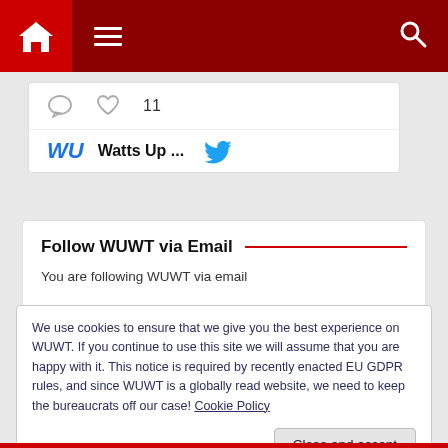WUWT navigation header with home, menu, and search icons
[Figure (screenshot): Social media card showing comment icon, heart icon with 11 likes, WU logo, Watts Up... text, and Twitter bird icon]
Follow WUWT via Email
You are following WUWT via email
We use cookies to ensure that we give you the best experience on WUWT. If you continue to use this site we will assume that you are happy with it. This notice is required by recently enacted EU GDPR rules, and since WUWT is a globally read website, we need to keep the bureaucrats off our case! Cookie Policy
Close and accept